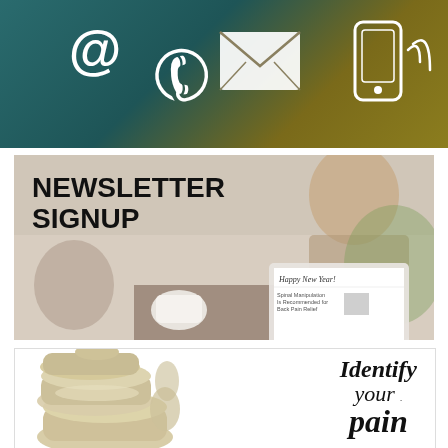[Figure (infographic): Communication icons banner with teal-to-gold gradient background showing email @ symbol, phone handset, envelope/letter, and mobile phone with signal waves icons in white]
[Figure (infographic): Newsletter Signup banner with bold black text 'NEWSLETTER SIGNUP' on left side over a photo of a woman reading a newsletter on a laptop at an outdoor cafe with coffee cup]
[Figure (infographic): Identify your pain banner with spine vertebrae 3D illustration on left and italic/bold text 'Identify your pain' on right over white background]